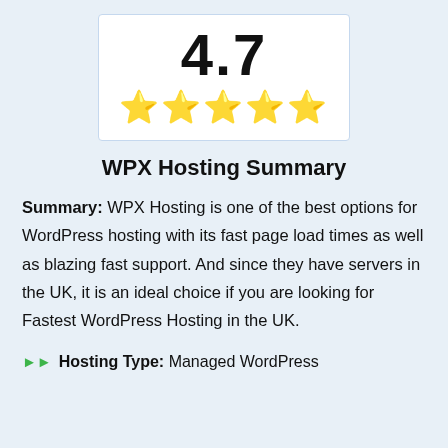[Figure (infographic): Rating box showing 4.7 score with 5 gold stars]
WPX Hosting Summary
Summary: WPX Hosting is one of the best options for WordPress hosting with its fast page load times as well as blazing fast support. And since they have servers in the UK, it is an ideal choice if you are looking for Fastest WordPress Hosting in the UK.
Hosting Type: Managed WordPress